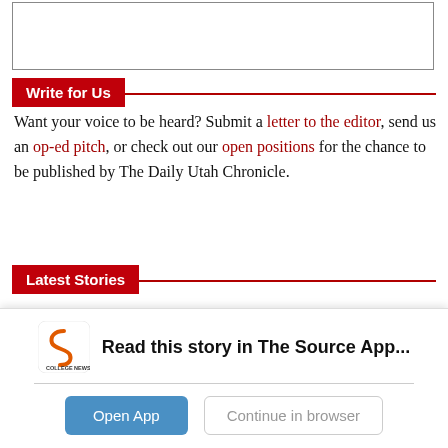[Figure (other): Empty bordered rectangle placeholder]
Write for Us
Want your voice to be heard? Submit a letter to the editor, send us an op-ed pitch, or check out our open positions for the chance to be published by The Daily Utah Chronicle.
Latest Stories
[Figure (photo): Photograph of a room interior with wooden chairs, a grandfather clock, and a person partially visible, with beige walls.]
[Figure (other): App download banner: College News Source logo with text 'Read this story in The Source App...' and buttons 'Open App' and 'Continue in browser']